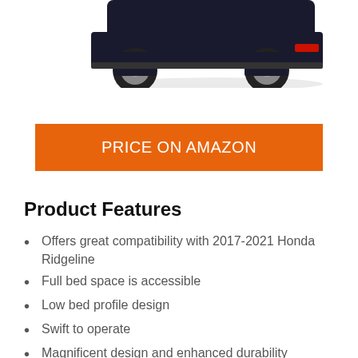[Figure (photo): Partial view of a vehicle (car/truck) from above, showing the front wheel and part of the body, on a white background. Only the bottom portion of the vehicle is visible.]
PRICE ON AMAZON
Product Features
Offers great compatibility with 2017-2021 Honda Ridgeline
Full bed space is accessible
Low bed profile design
Swift to operate
Magnificent design and enhanced durability